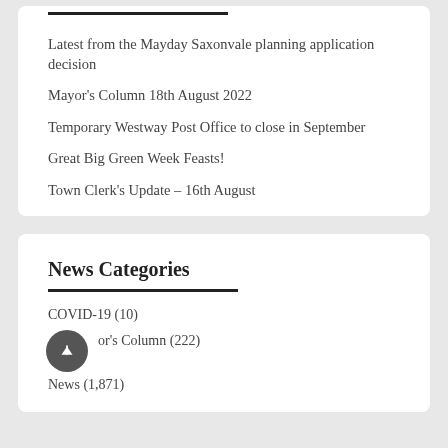Latest from the Mayday Saxonvale planning application decision
Mayor's Column 18th August 2022
Temporary Westway Post Office to close in September
Great Big Green Week Feasts!
Town Clerk's Update – 16th August
News Categories
COVID-19 (10)
Mayor's Column (222)
News (1,871)